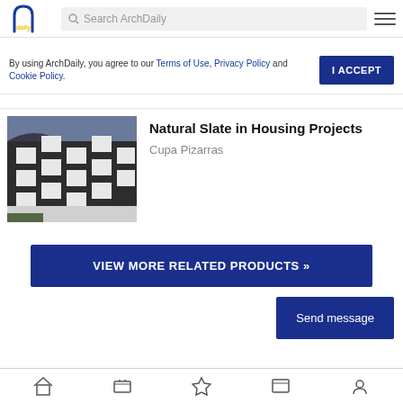ArchDaily — Search ArchDaily
By using ArchDaily, you agree to our Terms of Use, Privacy Policy and Cookie Policy.
I ACCEPT
[Figure (photo): Photo of a dark brick multi-story residential building with geometric white-framed windows arranged in a diagonal pattern]
Natural Slate in Housing Projects
Cupa Pizarras
VIEW MORE RELATED PRODUCTS »
Send message
Bottom navigation bar with icons